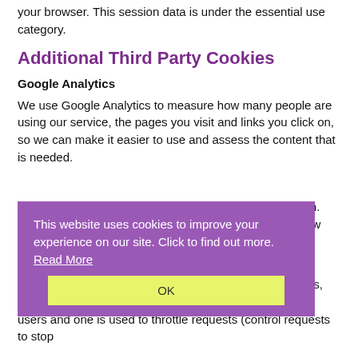your browser. This session data is under the essential use category.
Additional Third Party Cookies
Google Analytics
We use Google Analytics to measure how many people are using our service, the pages you visit and links you click on, so we can make it easier to use and assess the content that is needed.
These cookies collect information in an anonymous form. Analysing the anonymised data helps us understand how people interact with our services so we can make them better.
This website uses cookies to improve your experience on our site. Click to find out more. Read More
OK
There are three possible cookies set by Google Analytics, one used to distinguish users, one is used to distinguish users and one is used to throttle requests (control requests to stop